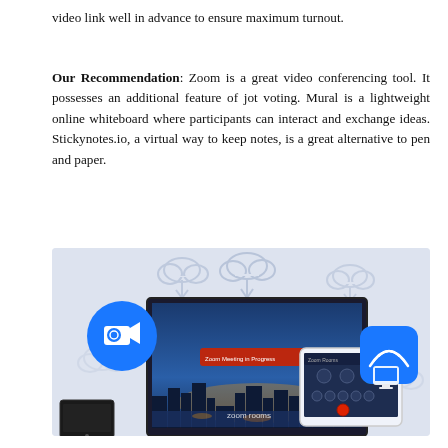video link well in advance to ensure maximum turnout.
Our Recommendation: Zoom is a great video conferencing tool. It possesses an additional feature of jot voting. Mural is a lightweight online whiteboard where participants can interact and exchange ideas. Stickynotes.io, a virtual way to keep notes, is a great alternative to pen and paper.
[Figure (photo): Illustration of Zoom Rooms setup showing a large monitor with a cityscape video call background, a Zoom Rooms logo at bottom, a tablet device with Zoom controls, a blue Zoom camera icon in the upper left, and cloud sync icons at the top. A small black device is shown at the bottom left.]